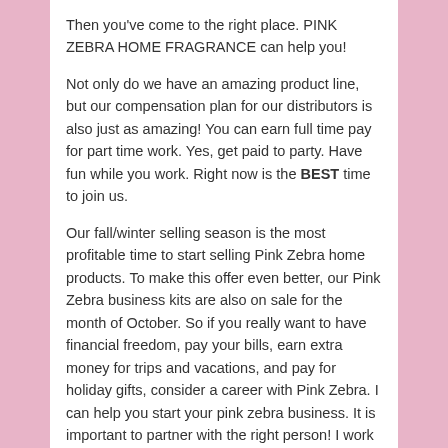Then you've come to the right place. PINK ZEBRA HOME FRAGRANCE can help you!
Not only do we have an amazing product line, but our compensation plan for our distributors is also just as amazing! You can earn full time pay for part time work. Yes, get paid to party. Have fun while you work. Right now is the BEST time to join us.
Our fall/winter selling season is the most profitable time to start selling Pink Zebra home products. To make this offer even better, our Pink Zebra business kits are also on sale for the month of October. So if you really want to have financial freedom, pay your bills, earn extra money for trips and vacations, and pay for holiday gifts, consider a career with Pink Zebra. I can help you start your pink zebra business. It is important to partner with the right person! I work this business full time and can help you with any aspect of your new business. Call me at 877-466-8449 or if you are ready NOW to sign up and join pink zebra now, head over to http://www.joinpz.com and